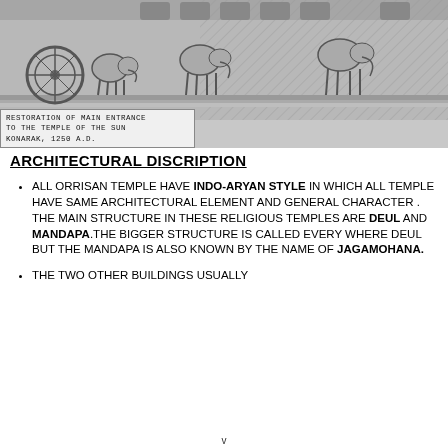[Figure (illustration): Black and white architectural drawing/illustration of the main entrance to the Temple of the Sun at Konarak, 1250 A.D., showing decorative elephants and chariot wheels along the temple facade.]
RESTORATION OF MAIN ENTRANCE TO THE TEMPLE OF THE SUN KONARAK, 1250 A.D.
ARCHITECTURAL DISCRIPTION
ALL ORRISAN TEMPLE HAVE INDO-ARYAN STYLE IN WHICH ALL TEMPLE HAVE SAME ARCHITECTURAL ELEMENT AND GENERAL CHARACTER . THE MAIN STRUCTURE IN THESE RELIGIOUS TEMPLES ARE DEUL AND MANDAPA.THE BIGGER STRUCTURE IS CALLED EVERY WHERE DEUL BUT THE MANDAPA IS ALSO KNOWN BY THE NAME OF JAGAMOHANA.
THE TWO OTHER BUILDINGS USUALLY
v